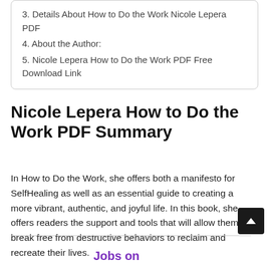3. Details About How to Do the Work Nicole Lepera PDF
4. About the Author:
5. Nicole Lepera How to Do the Work PDF Free Download Link
Nicole Lepera How to Do the Work PDF Summary
In How to Do the Work, she offers both a manifesto for SelfHealing as well as an essential guide to creating a more vibrant, authentic, and joyful life. In this book, she offers readers the support and tools that will allow them to break free from destructive behaviors to reclaim and recreate their lives.
Jobs on